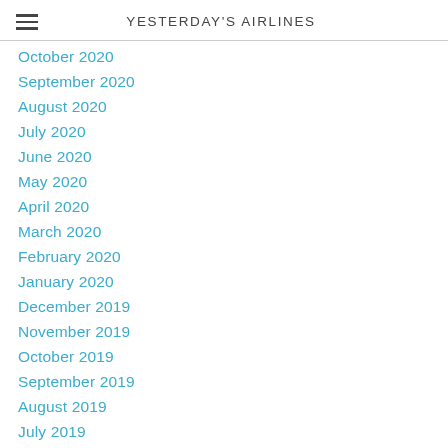YESTERDAY'S AIRLINES
October 2020
September 2020
August 2020
July 2020
June 2020
May 2020
April 2020
March 2020
February 2020
January 2020
December 2019
November 2019
October 2019
September 2019
August 2019
July 2019
June 2019
May 2019